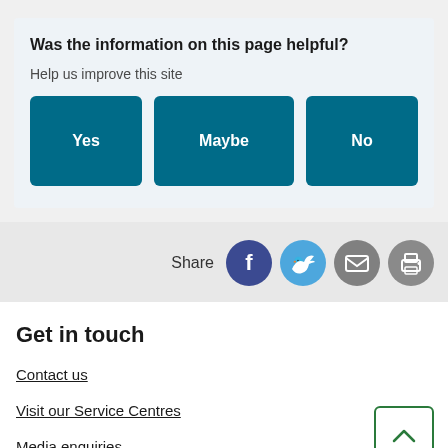Was the information on this page helpful?
Help us improve this site
Yes | Maybe | No
Share
Get in touch
Contact us
Visit our Service Centres
Media enquiries